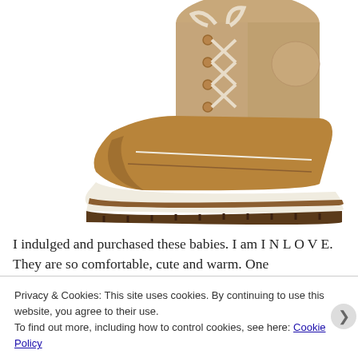[Figure (photo): A tan/brown winter snow boot with cream laces and lug sole, photographed on white background, showing the boot from mid-shaft down at an angle]
I indulged and purchased these babies. I am I N L O V E. They are so comfortable, cute and warm. One
Privacy & Cookies: This site uses cookies. By continuing to use this website, you agree to their use.
To find out more, including how to control cookies, see here: Cookie Policy
Close and accept